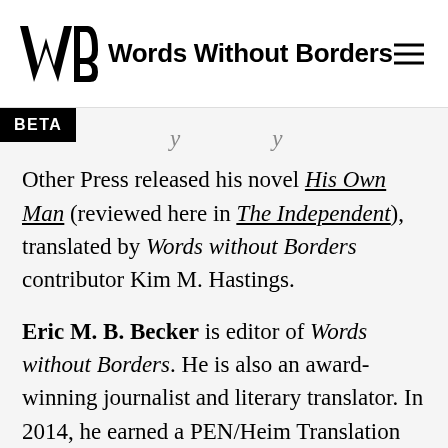Words Without Borders
Other Press released his novel His Own Man (reviewed here in The Independent), translated by Words without Borders contributor Kim M. Hastings.
Eric M. B. Becker is editor of Words without Borders. He is also an award-winning journalist and literary translator. In 2014, he earned a PEN/Heim Translation Fund Grant for his translation of a collection of short stories from the Portuguese by Neustadt Prize for International Literature winner and 2015 Man Booker International Finalist Mia Couto, forthcoming from Biblioasis. He has also